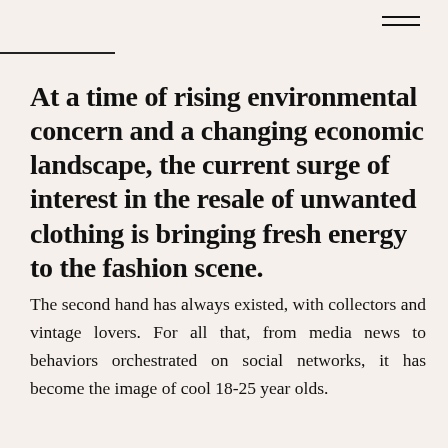At a time of rising environmental concern and a changing economic landscape, the current surge of interest in the resale of unwanted clothing is bringing fresh energy to the fashion scene.
The second hand has always existed, with collectors and vintage lovers. For all that, from media news to behaviors orchestrated on social networks, it has become the image of cool 18-25 year olds.